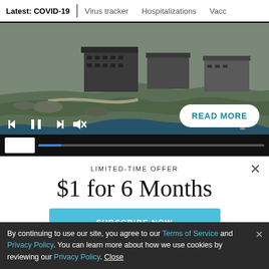Latest: COVID-19 | Virus tracker | Hospitalizations | Vacc
[Figure (screenshot): Aerial video screenshot of a coastal industrial/nuclear facility with rocky shoreline and ocean, showing video playback controls (skip back, pause, skip forward, mute) and a READ MORE button overlay, with a video progress bar at bottom.]
LIMITED-TIME OFFER
$1 for 6 Months
SUBSCRIBE NOW
By continuing to use our site, you agree to our Terms of Service and Privacy Policy. You can learn more about how we use cookies by reviewing our Privacy Policy. Close